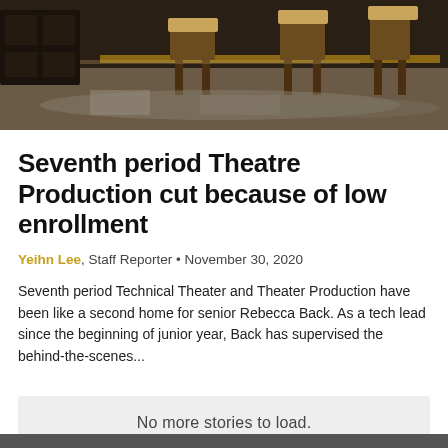[Figure (photo): Theater stage photo showing chairs and tables in a dimly lit room with wooden furniture]
Seventh period Theatre Production cut because of low enrollment
Yeihn Lee, Staff Reporter • November 30, 2020
Seventh period Technical Theater and Theater Production have been like a second home for senior Rebecca Back. As a tech lead since the beginning of junior year, Back has supervised the behind-the-scenes...
No more stories to load.